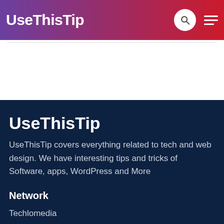UseThisTip
UseThisTip
UseThisTip covers everything related to tech and web design. We have interesting tips and tricks of Software, apps, WordPress and More
Network
Techlomedia